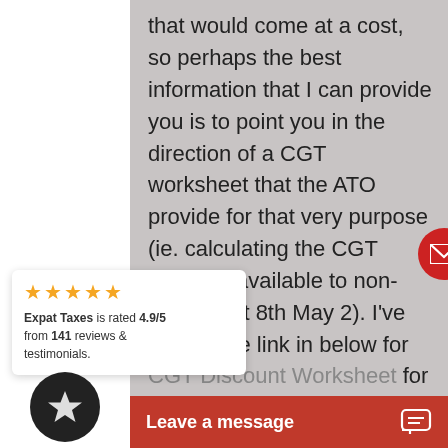that would come at a cost, so perhaps the best information that I can provide you is to point you in the direction of a CGT worksheet that the ATO provide for that very purpose (ie. calculating the CGT discount available to non-dents post 8th May 2). I've pasted the link in below for you:
[Figure (other): Red circular email/contact button with envelope icon]
[Figure (other): White rating widget showing 5 gold stars. Text: Expat Taxes is rated 4.9/5 from 141 reviews & testimonials.]
[Figure (other): Dark circular badge with a star icon (review/rating badge)]
CGT Discount Worksheet for
Leave a message